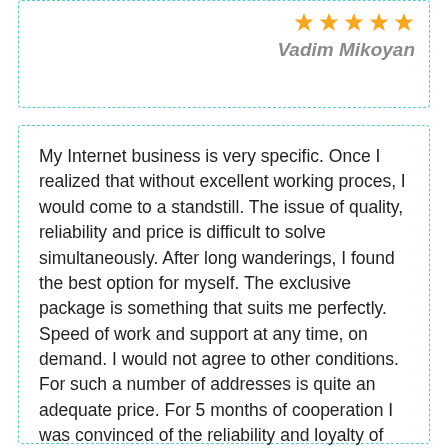[Figure (other): Five gold stars rating]
Vadim Mikoyan
My Internet business is very specific. Once I realized that without excellent working proces, I would come to a standstill. The issue of quality, reliability and price is difficult to solve simultaneously. After long wanderings, I found the best option for myself. The exclusive package is something that suits me perfectly. Speed of work and support at any time, on demand. I would not agree to other conditions. For such a number of addresses is quite an adequate price. For 5 months of cooperation I was convinced of the reliability and loyalty of FineProxy.
Exclusive
Pros:  reliability of service